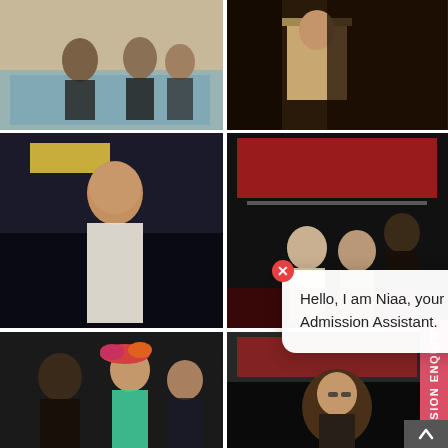[Figure (photo): Event photo: people on a stage at a formal ceremony with blue draped table, left panel]
[Figure (photo): Event photo: person standing on stage at formal event with decorative backdrop, right panel]
[Figure (photo): Man in white shirt and orange cap singing into a microphone on stage]
[Figure (photo): Multiple people on stage at an event with a banner; one man speaking into microphone]
[Figure (photo): Woman in turquoise outfit bowing near a lamp at a ceremony, with others standing nearby; watermark: SHEKAR]
[Figure (photo): Man with long curly hair and glasses speaking into microphone at intra-college cultural fest]
Hello, I am Niaa, your Admission Assistant.
ADMISSION ENQUIRY